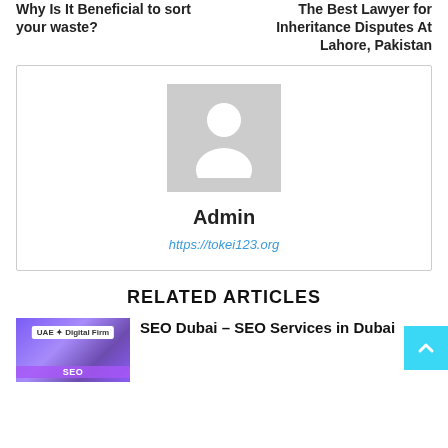Why Is It Beneficial to sort your waste?
The Best Lawyer for Inheritance Disputes At Lahore, Pakistan
[Figure (illustration): Author avatar placeholder - grey square with white person silhouette icon]
Admin
https://tokei123.org
RELATED ARTICLES
[Figure (illustration): Thumbnail image with purple gradient background, UAE Digital Firm logo badge, SEO label at bottom]
SEO Dubai – SEO Services in Dubai